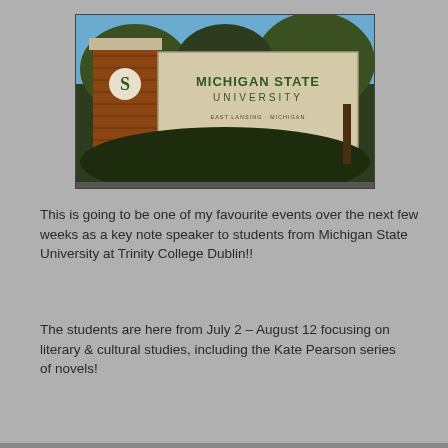[Figure (photo): Michigan State University entrance sign — brick pillar with 'S' logo on left, stone sign reading 'MICHIGAN STATE UNIVERSITY' with green trees and blue sky in background]
This is going to be one of my favourite events over the next few weeks as a key note speaker to students from Michigan State University at Trinity College Dublin!!
The students are here from July 2 – August 12 focusing on literary & cultural studies, including the Kate Pearson series of novels!